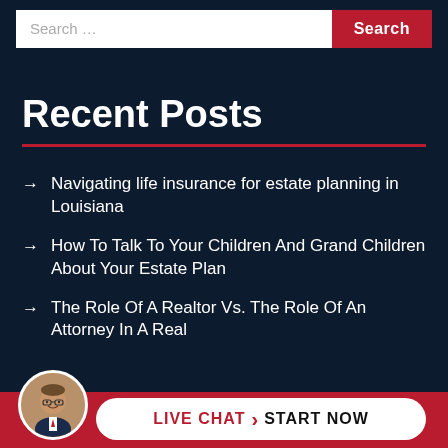Search ... | Search
Recent Posts
Navigating life insurance for estate planning in Louisiana
How To Talk To Your Children And Grand Children About Your Estate Plan
The Role Of A Realtor Vs. The Role Of An Attorney In A Real
LIVE CHAT › START NOW